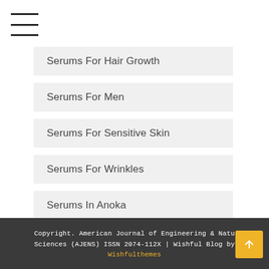[Figure (other): Hamburger menu icon with three horizontal lines]
Serums For Hair Growth
Serums For Men
Serums For Sensitive Skin
Serums For Wrinkles
Serums In Anoka
Copyright. American Journal of Engineering & Natural Sciences (AJENS) ISSN 2074-112X | Wishful Blog by Wishfulthemes